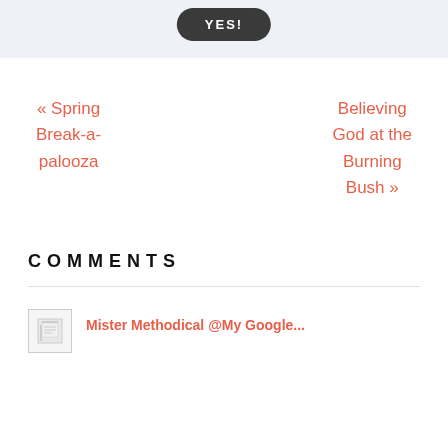[Figure (other): Dark rounded button with white bold text 'YES!' on a light blue-grey background banner]
« Spring Break-a-palooza
Believing God at the Burning Bush »
COMMENTS
Mister Methodical @My Google...